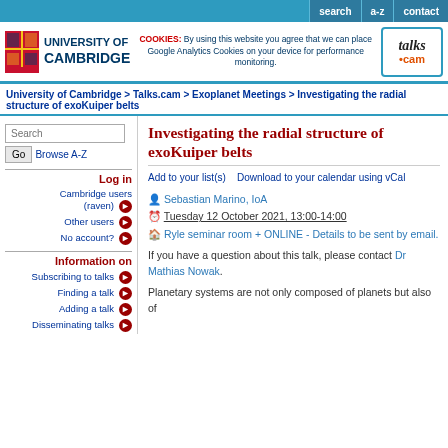search | a-z | contact
[Figure (logo): University of Cambridge logo with shield and text, cookie notice, and talks.cam logo]
University of Cambridge > Talks.cam > Exoplanet Meetings > Investigating the radial structure of exoKuiper belts
Investigating the radial structure of exoKuiper belts
Add to your list(s)    Download to your calendar using vCal
Sebastian Marino, IoA
Tuesday 12 October 2021, 13:00-14:00
Ryle seminar room + ONLINE - Details to be sent by email.
If you have a question about this talk, please contact Dr Mathias Nowak.
Planetary systems are not only composed of planets but also of
Log in
Cambridge users (raven)
Other users
No account?
Information on
Subscribing to talks
Finding a talk
Adding a talk
Disseminating talks